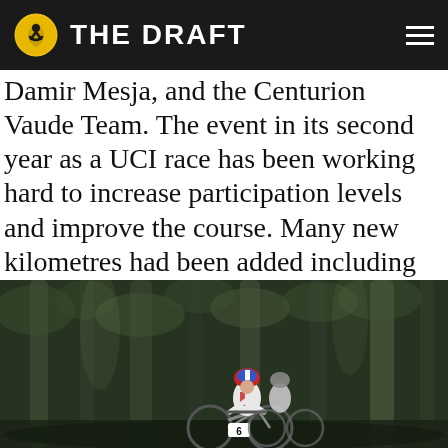THE DRAFT
Damir Mesja, and the Centurion Vaude Team. The event in its second year as a UCI race has been working hard to increase participation levels and improve the course. Many new kilometres had been added including some fantastic trails along the northern coast.
[Figure (photo): Two mountain bikers racing through a dense forest with tall moss-covered trees. The lead rider wears a white jersey with red accents and a red/white/blue helmet. A number 6 plate is visible on the front bike. The forest floor is dark and the scene appears to be from a mountain bike race.]